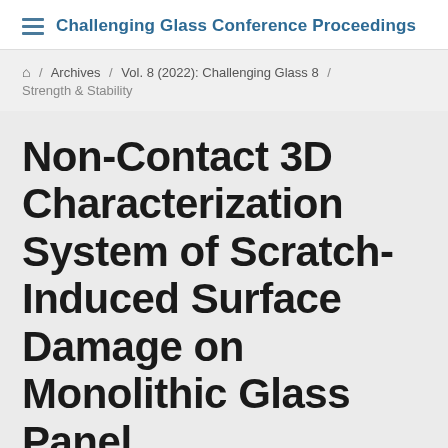Challenging Glass Conference Proceedings
Archives / Vol. 8 (2022): Challenging Glass 8 / Strength & Stability
Non-Contact 3D Characterization System of Scratch-Induced Surface Damage on Monolithic Glass Panel